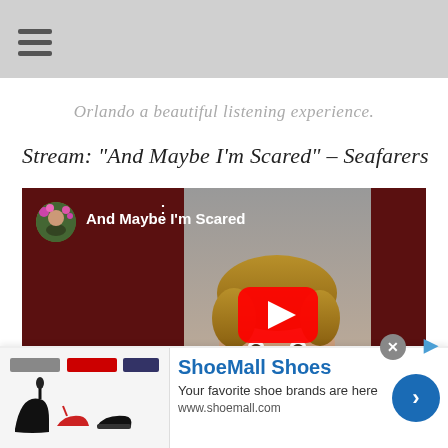Orlando a beautiful listening experience.
Stream: "And Maybe I'm Scared" – Seafarers
[Figure (screenshot): YouTube video embed showing 'And Maybe I'm Scared' by Seafarers. The video thumbnail shows a close-up photo of a young boy with freckles against a grey background. A red YouTube play button is centered on the thumbnail. The left and right thirds of the player are dark maroon/red. Top left shows a circular channel thumbnail with flowers and the video title 'And Maybe I'm Scared' in white text.]
[Figure (screenshot): ShoeMall Shoes advertisement banner. Shows shoe product images on the left, 'ShoeMall Shoes' brand name in blue, tagline 'Your favorite shoe brands are here', URL 'www.shoemall.com', and a blue circular arrow button on the right. Has a grey close (X) button at top right.]